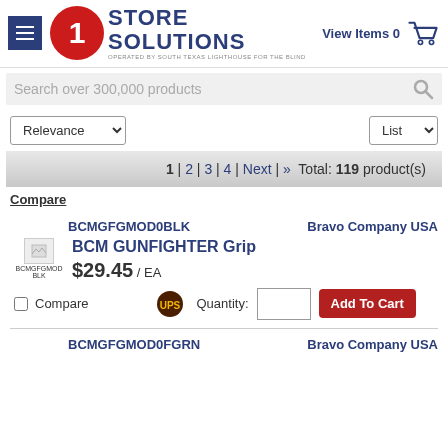[Figure (logo): 1 Store Solutions logo with red circle, number 1, and blue text. Operated by South Texas Lighthouse for the Blind.]
View Items 0
Search over 300,000 products
Relevance (dropdown) | List (dropdown)
1 | 2 | 3 | 4 | Next | » Total: 119 product(s)
Compare
BCMGFGMOD0BLK    Bravo Company USA
BCM GUNFIGHTER Grip
$29.45 / EA
Quantity:
Add To Cart
Compare
BCMGFGMOD0FGRN    Bravo Company USA